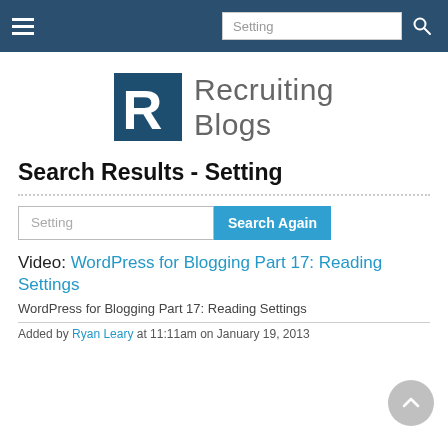Navigation bar with hamburger menu, search input 'Setting', and search icon
[Figure (logo): Recruiting Blogs logo — stylized R icon in dark teal/navy with text 'Recruiting Blogs' in grey sans-serif]
Search Results - Setting
Setting [search input] Search Again [button]
Video: WordPress for Blogging Part 17: Reading Settings
WordPress for Blogging Part 17: Reading Settings
Added by Ryan Leary at 11:11am on January 19, 2013